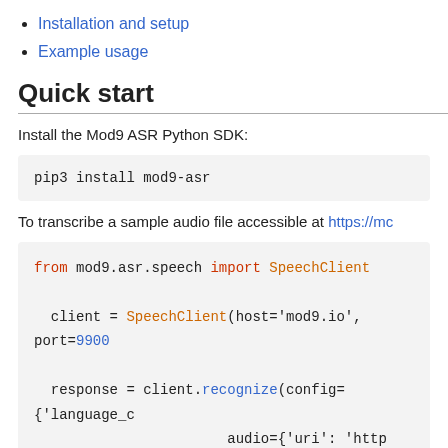Installation and setup
Example usage
Quick start
Install the Mod9 ASR Python SDK:
pip3 install mod9-asr
To transcribe a sample audio file accessible at https://mc
from mod9.asr.speech import SpeechClient

client = SpeechClient(host='mod9.io', port=9900

response = client.recognize(config={'language_c
                          audio={'uri': 'http

print(response)